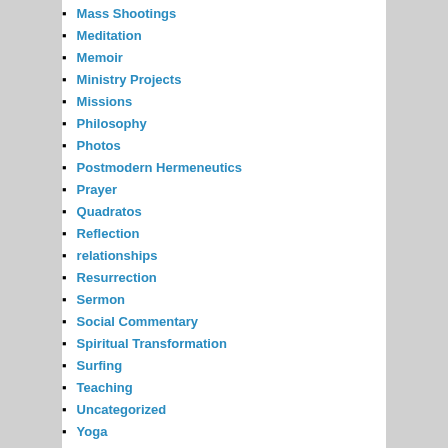Mass Shootings
Meditation
Memoir
Ministry Projects
Missions
Philosophy
Photos
Postmodern Hermeneutics
Prayer
Quadratos
Reflection
relationships
Resurrection
Sermon
Social Commentary
Spiritual Transformation
Surfing
Teaching
Uncategorized
Yoga